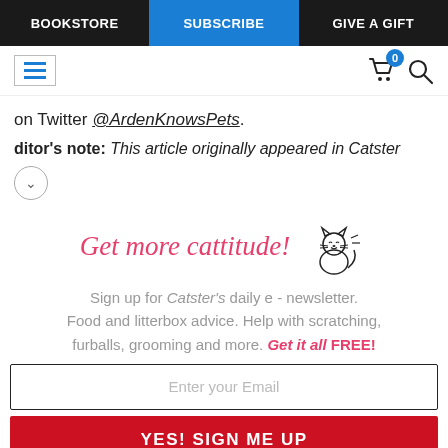BOOKSTORE | SUBSCRIBE | GIVE A GIFT
[Figure (screenshot): Toolbar with hamburger menu icon on left, shopping cart with badge '0' and search icon on right]
on Twitter @ArdenKnowsPets.
ditor's note: This article originally appeared in Catster
[Figure (infographic): Newsletter signup promotional box with 'Get more cattitude!' headline in pink cursive, cat illustration, signup text, email input field, and YES! SIGN ME UP button]